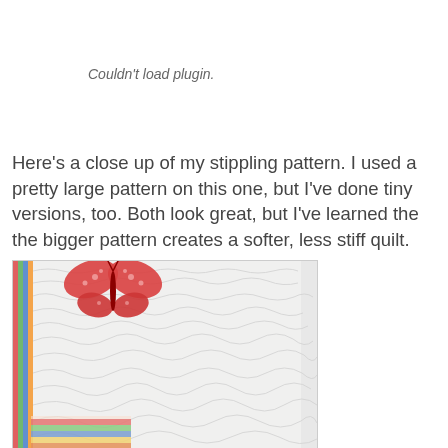[Figure (other): Could not load plugin placeholder area — blank white space with gray italic text 'Couldn't load plugin.']
Here's a close up of my stippling pattern. I used a pretty large pattern on this one, but I've done tiny versions, too. Both look great, but I've learned the the bigger pattern creates a softer, less stiff quilt.
[Figure (photo): Close-up photo of a quilt showing white stippling pattern with a red butterfly applique and colorful striped border.]